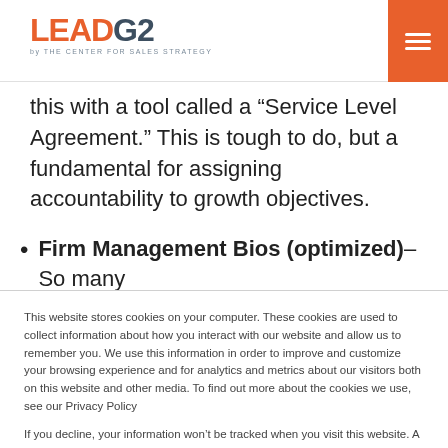LEAD G2 by THE CENTER FOR SALES STRATEGY
this with a tool called a “Service Level Agreement.” This is tough to do, but a fundamental for assigning accountability to growth objectives.
Firm Management Bios (optimized)– So many
This website stores cookies on your computer. These cookies are used to collect information about how you interact with our website and allow us to remember you. We use this information in order to improve and customize your browsing experience and for analytics and metrics about our visitors both on this website and other media. To find out more about the cookies we use, see our Privacy Policy

If you decline, your information won’t be tracked when you visit this website. A single cookie will be used in your browser to remember your preference not to be tracked.
Accept | Decline